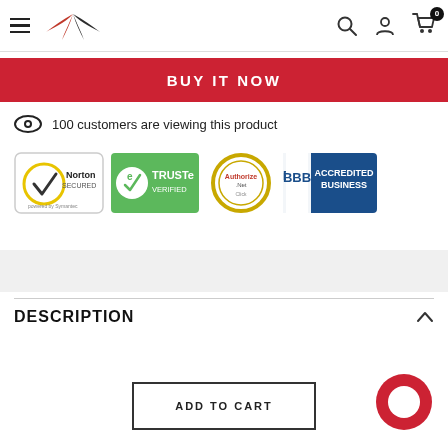Navigation header with hamburger menu, logo, search, account and cart icons
BUY IT NOW
100 customers are viewing this product
[Figure (logo): Trust badges: Norton Secured powered by Symantec, TRUSTe Verified, Authorize.Net, BBB Accredited Business]
DESCRIPTION
ADD TO CART
[Figure (illustration): Red chat/support circle icon in bottom right]